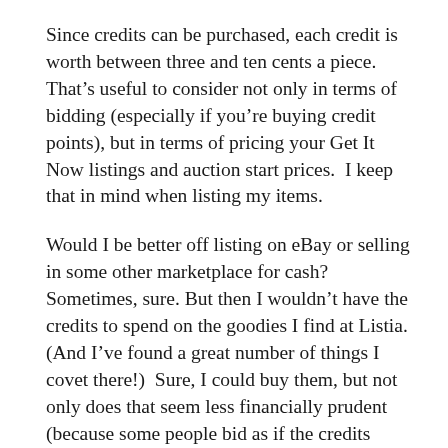Since credits can be purchased, each credit is worth between three and ten cents a piece. That's useful to consider not only in terms of bidding (especially if you're buying credit points), but in terms of pricing your Get It Now listings and auction start prices.  I keep that in mind when listing my items.
Would I be better off listing on eBay or selling in some other marketplace for cash?  Sometimes, sure. But then I wouldn't have the credits to spend on the goodies I find at Listia. (And I've found a great number of things I covet there!)  Sure, I could buy them, but not only does that seem less financially prudent (because some people bid as if the credits have no value and bid really high), but it also seems to miss the real purpose of the game: sell in order to buy.  It makes the thrill of the hunt even more challenging for this collector to stay within the